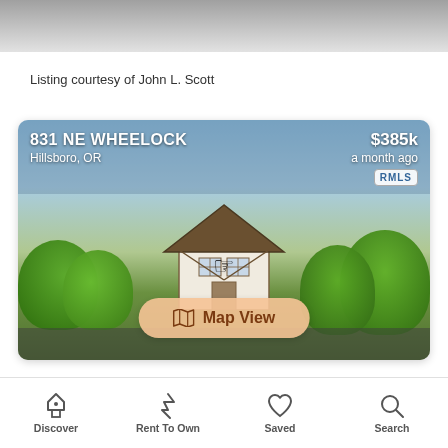[Figure (photo): Top portion of a property photo cropped at the top of the page, showing a grey/silver area]
Listing courtesy of John L. Scott
[Figure (photo): Real estate listing card showing a Tudor-style house at 831 NE Wheelock, Hillsboro, OR priced at $385k listed a month ago. A Map View button overlay is shown on the photo. RMLS badge visible. A cursor/hand pointer is displayed over the image.]
Discover  Rent To Own  Saved  Search